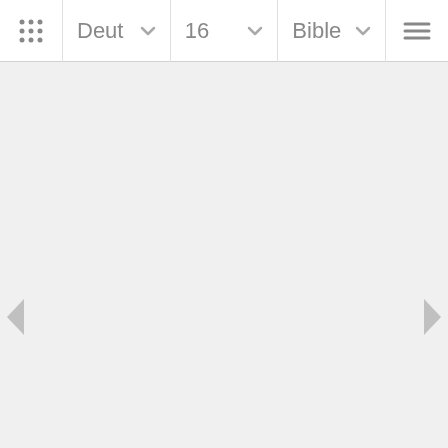Deut  16  Bible
[Figure (screenshot): Bible app navigation bar with grid icon, book selector (Deut), chapter selector (16), and Bible version selector, with navigation arrows on left and right sides and bottom corners of the content area.]